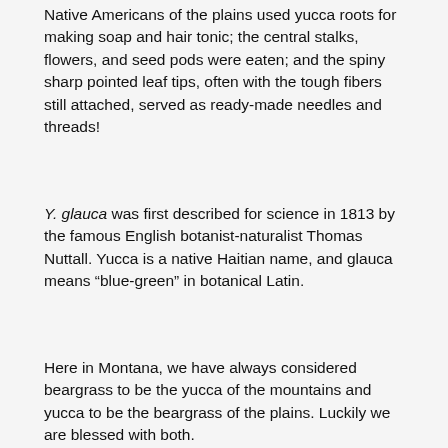Native Americans of the plains used yucca roots for making soap and hair tonic; the central stalks, flowers, and seed pods were eaten; and the spiny sharp pointed leaf tips, often with the tough fibers still attached, served as ready-made needles and threads!
Y. glauca was first described for science in 1813 by the famous English botanist-naturalist Thomas Nuttall. Yucca is a native Haitian name, and glauca means “blue-green” in botanical Latin.
Here in Montana, we have always considered beargrass to be the yucca of the mountains and yucca to be the beargrass of the plains. Luckily we are blessed with both.
We thank Wayne Phillips, a recognized expert on Montana’s plants and flowers for his insight on these plants in his great book The Plants of the Lewis and Clark Expedition. This work